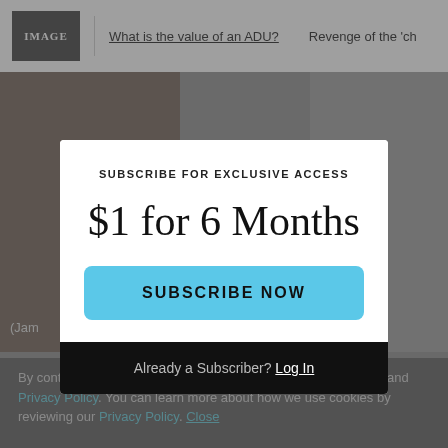IMAGE | What is the value of an ADU? | Revenge of the 'ch
[Figure (screenshot): Background website with dimmed photo collage]
(Jam
SUBSCRIBE FOR EXCLUSIVE ACCESS
$1 for 6 Months
SUBSCRIBE NOW
Already a Subscriber? Log In
By continuing to use our site, you agree to our Terms of Service and Privacy Policy. You can learn more about how we use cookies by reviewing our Privacy Policy. Close